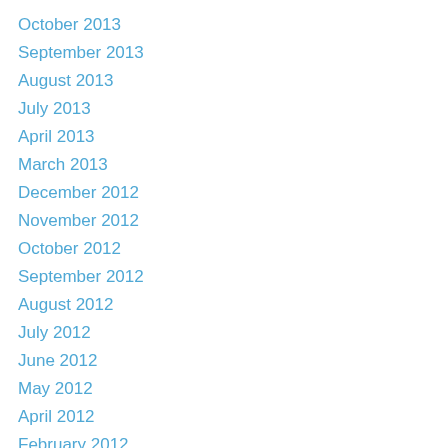October 2013
September 2013
August 2013
July 2013
April 2013
March 2013
December 2012
November 2012
October 2012
September 2012
August 2012
July 2012
June 2012
May 2012
April 2012
February 2012
January 2012
December 2011
November 2011